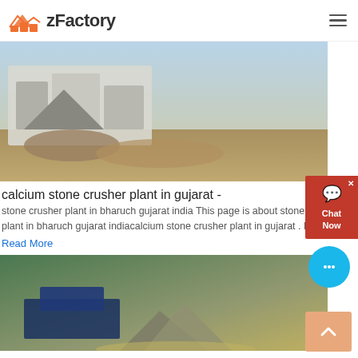zFactory
[Figure (photo): Stone crusher plant machinery in outdoor setting with rocks and sandy terrain]
calcium stone crusher plant in gujarat -
stone crusher plant in bharuch gujarat india This page is about stone crusher plant in bharuch gujarat indiacalcium stone crusher plant in gujarat . More.
Read More
[Figure (photo): Grinding mill machinery with dusty aggregate material in outdoor setting with trees in background]
gujarat stone quarry list – Grinding Mill China